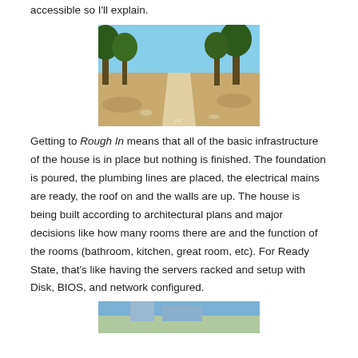accessible so I'll explain.
[Figure (photo): Outdoor dirt path through trees and brush under blue sky]
Getting to Rough In means that all of the basic infrastructure of the house is in place but nothing is finished.  The foundation is poured, the plumbing lines are placed, the electrical mains are ready, the roof on and the walls are up.  The house is being built according to architectural plans and major decisions like how many rooms there are and the function of the rooms (bathroom, kitchen, great room, etc).  For Ready State, that's like having the servers racked and setup with Disk, BIOS, and network configured.
[Figure (photo): Partial photo visible at bottom of page, appears to be an outdoor or construction scene]